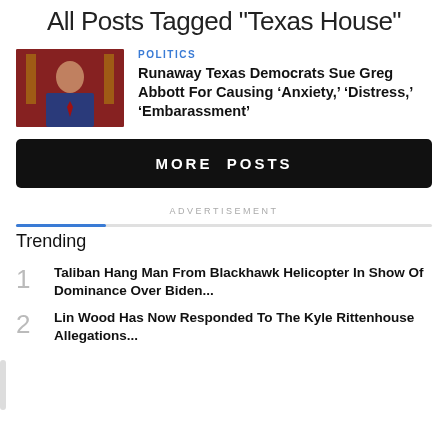All Posts Tagged "Texas House"
POLITICS
Runaway Texas Democrats Sue Greg Abbott For Causing ‘Anxiety,’ ‘Distress,’ ‘Embarassment’
MORE POSTS
ADVERTISEMENT
Trending
1 Taliban Hang Man From Blackhawk Helicopter In Show Of Dominance Over Biden...
2 Lin Wood Has Now Responded To The Kyle Rittenhouse Allegations...